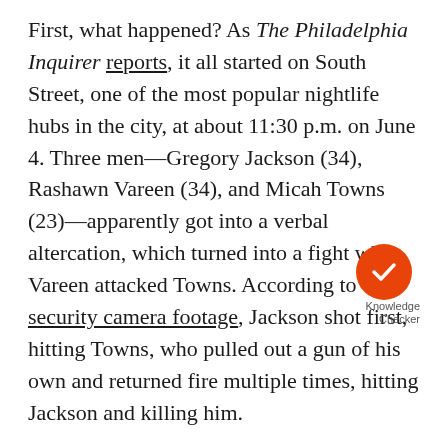First, what happened? As The Philadelphia Inquirer reports, it all started on South Street, one of the most popular nightlife hubs in the city, at about 11:30 p.m. on June 4. Three men—Gregory Jackson (34), Rashawn Vareen (34), and Micah Towns (23)—apparently got into a verbal altercation, which turned into a fight when Vareen attacked Towns. According to security camera footage, Jackson shot first, hitting Towns, who pulled out a gun of his own and returned fire multiple times, hitting Jackson and killing him.
A short time later, another man named Quran Garner (who was 18, and apparently a friend of Towns) allegedly pulled out his gun and fired down South Street into a crowd. Police coming on the scene then shot Garner in the hand, who